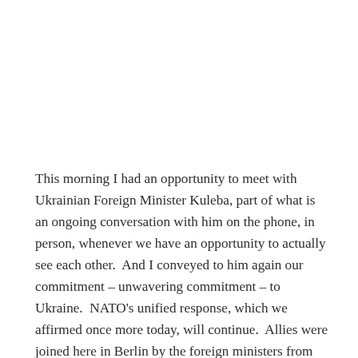This morning I had an opportunity to meet with Ukrainian Foreign Minister Kuleba, part of what is an ongoing conversation with him on the phone, in person, whenever we have an opportunity to actually see each other.  And I conveyed to him again our commitment – unwavering commitment – to Ukraine.  NATO's unified response, which we affirmed once more today, will continue.  Allies were joined here in Berlin by the foreign ministers from Sweden and Finland.  Both countries are close and valued defense partners of NATO and the United States.  And the United States would strongly support a NATO application by either Sweden or Finland should they choose to formally apply to the Alliance.  We'll respect whatever decision they make.  And we've long supported NATO's Open Door policy and the right of all